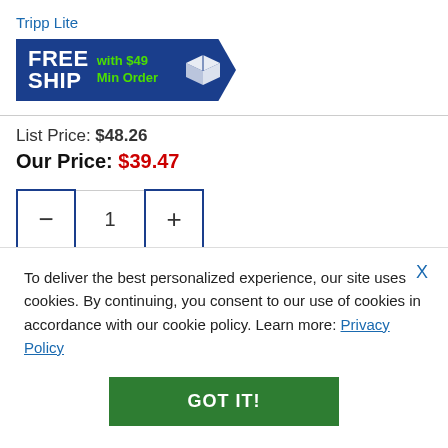Tripp Lite
[Figure (infographic): Free Ship with $49 Min Order banner — dark blue arrow/chevron shape with white FREE SHIP text, green 'with $49 Min Order' text, and a white open box icon]
List Price: $48.26
Our Price: $39.47
[Figure (other): Quantity selector with minus button, quantity display showing 1, and plus button]
Quantity Pricing
To deliver the best personalized experience, our site uses cookies. By continuing, you consent to our use of cookies in accordance with our cookie policy. Learn more: Privacy Policy
GOT IT!